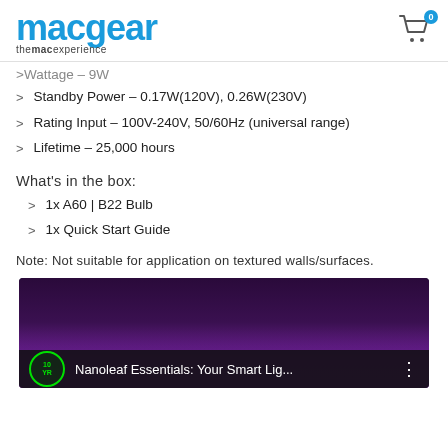macgear – themacexperience
Wattage – 9W
Standby Power – 0.17W(120V), 0.26W(230V)
Rating Input – 100V-240V, 50/60Hz (universal range)
Lifetime – 25,000 hours
What's in the box:
1x A60 | B22 Bulb
1x Quick Start Guide
Note: Not suitable for application on textured walls/surfaces.
[Figure (screenshot): Video thumbnail for 'Nanoleaf Essentials: Your Smart Lig...' showing a room with purple/pink LED lighting and a dark video player bar at the bottom with a green circle logo badge.]